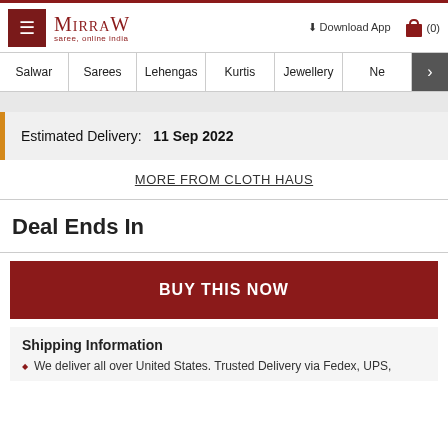Mirraw - saree, online india | Download App | (0)
Salwar | Sarees | Lehengas | Kurtis | Jewellery | Ne >
Estimated Delivery: 11 Sep 2022
MORE FROM CLOTH HAUS
Deal Ends In
BUY THIS NOW
Shipping Information
We deliver all over United States. Trusted Delivery via Fedex, UPS,